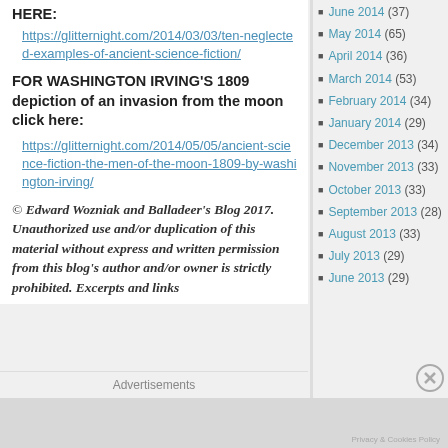HERE:
https://glitternight.com/2014/03/03/ten-neglected-examples-of-ancient-science-fiction/
FOR WASHINGTON IRVING'S 1809 depiction of an invasion from the moon click here:
https://glitternight.com/2014/05/05/ancient-science-fiction-the-men-of-the-moon-1809-by-washington-irving/
© Edward Wozniak and Balladeer's Blog 2017. Unauthorized use and/or duplication of this material without express and written permission from this blog's author and/or owner is strictly prohibited. Excerpts and links
Advertisements
June 2014 (37)
May 2014 (65)
April 2014 (36)
March 2014 (53)
February 2014 (34)
January 2014 (29)
December 2013 (34)
November 2013 (33)
October 2013 (33)
September 2013 (28)
August 2013 (33)
July 2013 (29)
June 2013 (29)